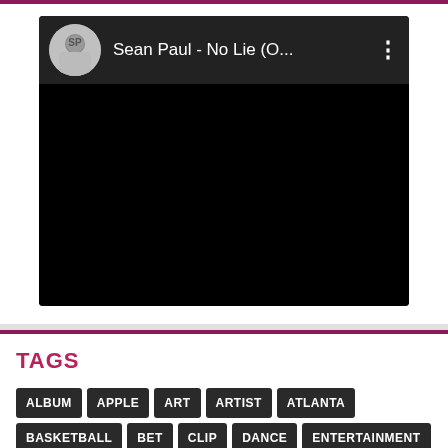[Figure (screenshot): Video player card showing Sean Paul - No Lie (O... with artist avatar thumbnail and black video area, with three-dot menu icon]
TAGS
ALBUM
APPLE
ART
ARTIST
ATLANTA
BASKETBALL
BET
CLIP
DANCE
ENTERTAINMENT
FUTURE
GRAM
HAPPY
HEA
HEALTH
HIP HOP
ICE
INSTAGRAM
KANYE WEST
LEGAL
LOS ANGELES
LOVE
MAN
MORNING
MUSIC
NBA
NC
NEWS
NIKE
NO
PARTY
PERSONAL
POP
QUEEN
RAP